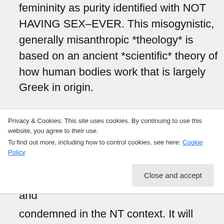femininity as purity identified with NOT HAVING SEX–EVER. This misogynistic, generally misanthropic *theology* is based on an ancient *scientific* theory of how human bodies work that is largely Greek in origin.
With your “fine” I take it that you’ve conceded my whole point.
As to your “but in the New Testament itself we already find fornication, adultery and
Privacy & Cookies: This site uses cookies. By continuing to use this website, you agree to their use.
To find out more, including how to control cookies, see here: Cookie Policy
condemned in the NT context. It will